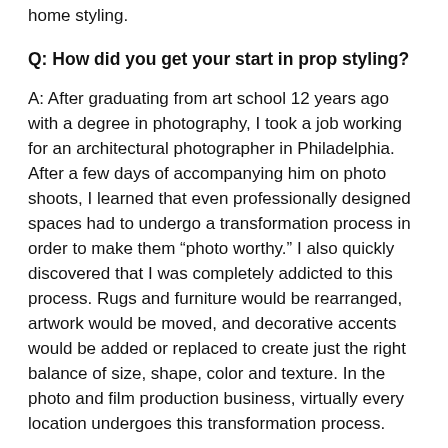home styling.
Q: How did you get your start in prop styling?
A: After graduating from art school 12 years ago with a degree in photography, I took a job working for an architectural photographer in Philadelphia. After a few days of accompanying him on photo shoots, I learned that even professionally designed spaces had to undergo a transformation process in order to make them “photo worthy.” I also quickly discovered that I was completely addicted to this process. Rugs and furniture would be rearranged, artwork would be moved, and decorative accents would be added or replaced to create just the right balance of size, shape, color and texture. In the photo and film production business, virtually every location undergoes this transformation process.